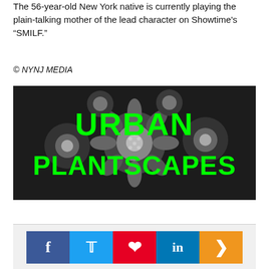The 56-year-old New York native is currently playing the plain-talking mother of the lead character on Showtime's “SMILF.”
© NYNJ MEDIA
[Figure (logo): Urban Plantscapes logo with bright green text over black and white flower photograph]
[Figure (infographic): Social media sharing bar with Facebook, Twitter, Pinterest, LinkedIn, and share buttons]